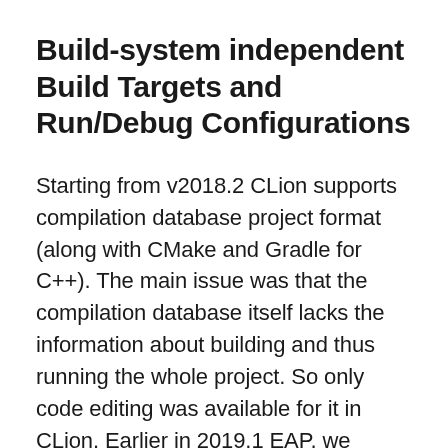Build-system independent Build Targets and Run/Debug Configurations
Starting from v2018.2 CLion supports compilation database project format (along with CMake and Gradle for C++). The main issue was that the compilation database itself lacks the information about building and thus running the whole project. So only code editing was available for it in CLion. Earlier in 2019.1 EAP, we added the ability to configure Build/Clean tools for compilation database projects (simply configure